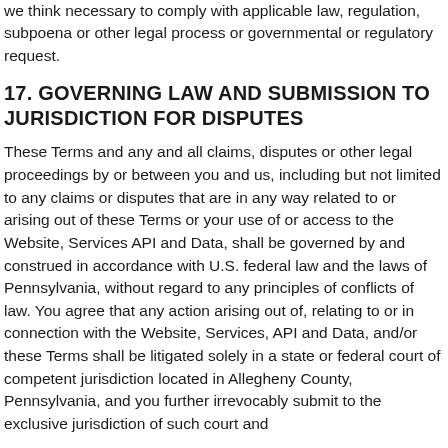we think necessary to comply with applicable law, regulation, subpoena or other legal process or governmental or regulatory request.
17. GOVERNING LAW AND SUBMISSION TO JURISDICTION FOR DISPUTES
These Terms and any and all claims, disputes or other legal proceedings by or between you and us, including but not limited to any claims or disputes that are in any way related to or arising out of these Terms or your use of or access to the Website, Services API and Data, shall be governed by and construed in accordance with U.S. federal law and the laws of Pennsylvania, without regard to any principles of conflicts of law. You agree that any action arising out of, relating to or in connection with the Website, Services, API and Data, and/or these Terms shall be litigated solely in a state or federal court of competent jurisdiction located in Allegheny County, Pennsylvania, and you further irrevocably submit to the exclusive jurisdiction of such court and